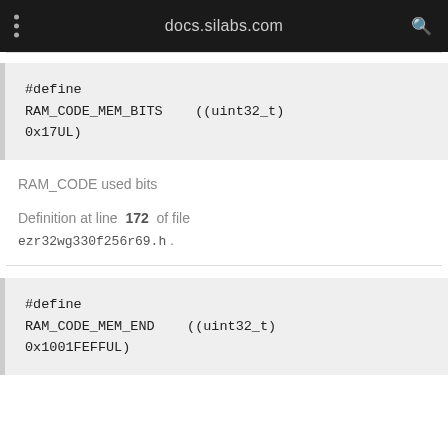docs.silabs.com
#define RAM_CODE_MEM_BITS    ((uint32_t) 0x17UL)
RAM_CODE used bits
Definition at line 172 of file ezr32wg330f256r69.h .
#define RAM_CODE_MEM_END    ((uint32_t) 0x1001FEFFUL)